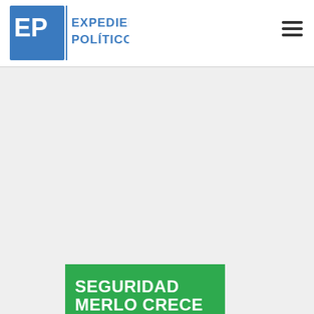Expediente Político
[Figure (screenshot): Banner image with green background showing text SEGURIDAD MERLO CRECE and a dark photo below showing police or security badge detail]